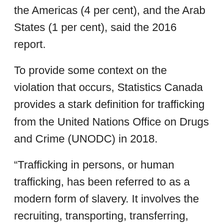the Americas (4 per cent), and the Arab States (1 per cent), said the 2016 report.
To provide some context on the violation that occurs, Statistics Canada provides a stark definition for trafficking from the United Nations Office on Drugs and Crime (UNODC) in 2018.
“Trafficking in persons, or human trafficking, has been referred to as a modern form of slavery. It involves the recruiting, transporting, transferring, receiving, holding, concealing or harbouring, or the exercise of control, direction, or influence over the movements of a person, in order to exploit or facilitate the exploitation of that person,” said Statistics Canada.